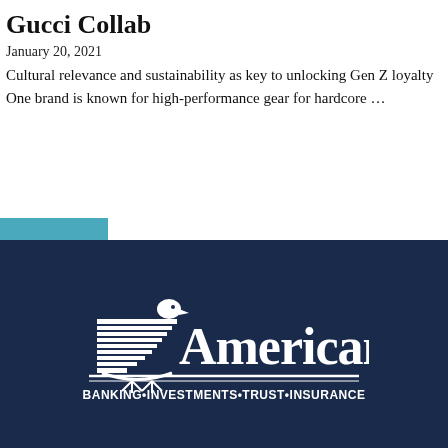Gucci Collab
January 20, 2021
Cultural relevance and sustainability as key to unlocking Gen Z loyalty One brand is known for high-performance gear for hardcore …
[Figure (logo): American Banking Investments Trust Insurance logo on dark navy background with eagle/flag emblem]